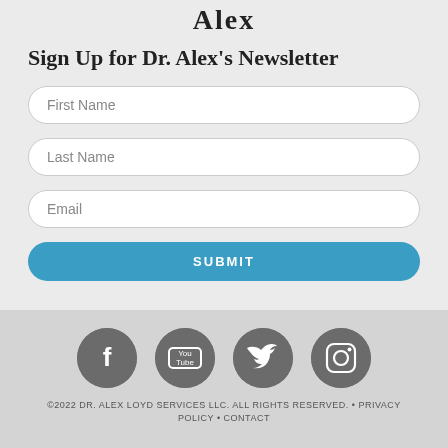Alex
Sign Up for Dr. Alex's Newsletter
First Name
Last Name
Email
SUBMIT
[Figure (infographic): Four social media icons in grey circles: Facebook, YouTube, Twitter, Instagram]
©2022 DR. ALEX LOYD SERVICES LLC. ALL RIGHTS RESERVED. • PRIVACY POLICY • CONTACT